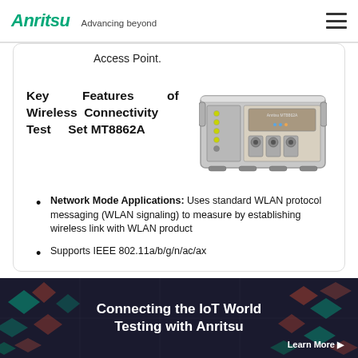Anritsu Advancing beyond
Access Point.
Key Features of Wireless Connectivity Test Set MT8862A
[Figure (photo): Anritsu MT8862A Wireless Connectivity Test Set instrument — a grey rack-mount unit with front panel connectors and controls]
Network Mode Applications: Uses standard WLAN protocol messaging (WLAN signaling) to measure by establishing wireless link with WLAN product
Supports IEEE 802.11a/b/g/n/ac/ax
2x2MIMO Rx sensitivity and Tx power measurement functions
[Figure (infographic): Connecting the IoT World Testing with Anritsu — banner with colorful fish/kite pattern background. Learn More link.]